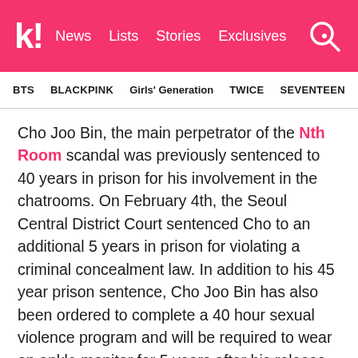k! News  Lists  Stories  Exclusives
BTS  BLACKPINK  Girls' Generation  TWICE  SEVENTEEN
Cho Joo Bin, the main perpetrator of the Nth Room scandal was previously sentenced to 40 years in prison for his involvement in the chatrooms. On February 4th, the Seoul Central District Court sentenced Cho to an additional 5 years in prison for violating a criminal concealment law. In addition to his 45 year prison sentence, Cho Joo Bin has also been ordered to complete a 40 hour sexual violence program and will be required to wear an ankle monitor for 5 years after his release. He will be prohibited from being employed at any school or welfare facilities.